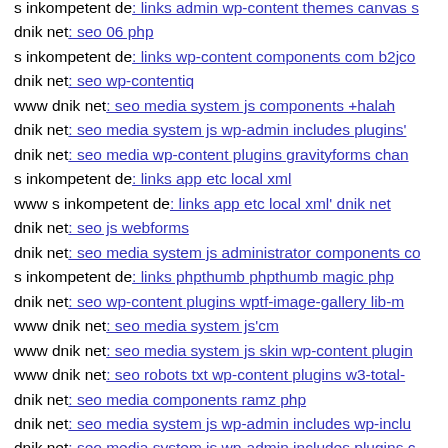s inkompetent de: links admin wp-content themes canvas s
dnik net: seo 06 php
s inkompetent de: links wp-content components com b2jco
dnik net: seo wp-contentiq
www dnik net: seo media system js components +halah
dnik net: seo media system js wp-admin includes plugins'
dnik net: seo media wp-content plugins gravityforms chan
s inkompetent de: links app etc local xml
www s inkompetent de: links app etc local xml' dnik net
dnik net: seo js webforms
dnik net: seo media system js administrator components co
s inkompetent de: links phpthumb phpthumb magic php
dnik net: seo wp-content plugins wptf-image-gallery lib-m
www dnik net: seo media system js'cm
www dnik net: seo media system js skin wp-content plugin
www dnik net: seo robots txt wp-content plugins w3-total-
dnik net: seo media components ramz php
dnik net: seo media system js wp-admin includes wp-inclu
dnik net: seo media system js wp-admin includes plugins c
dnik net: seo components com foxcontact wp-content them